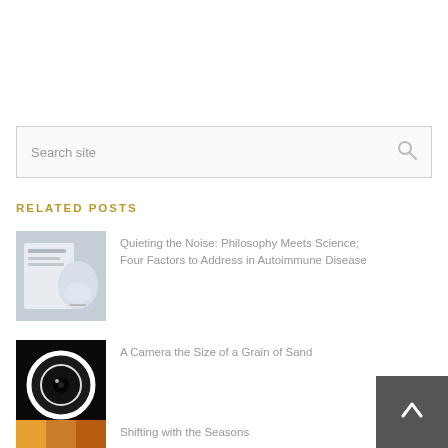Search site
RELATED POSTS
Quieting the Noise: Philosophy Meets Science; Four Factors to Address in Autoimmune Disease
A Camera the Size of a Grain of Sand
Shifting with the Seasons